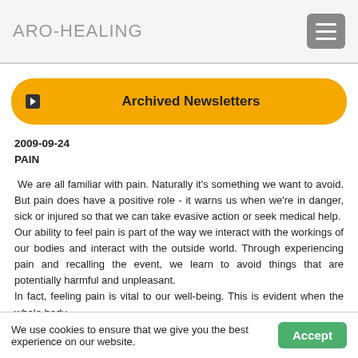ARO-HEALING
Archived Newsletters
2009-09-24
PAIN
We are all familiar with pain. Naturally it's something we want to avoid. But pain does have a positive role - it warns us when we're in danger, sick or injured so that we can take evasive action or seek medical help.
Our ability to feel pain is part of the way we interact with the workings of our bodies and interact with the outside world. Through experiencing pain and recalling the event, we learn to avoid things that are potentially harmful and unpleasant.
In fact, feeling pain is vital to our well-being. This is evident when the whole body
We use cookies to ensure that we give you the best experience on our website.